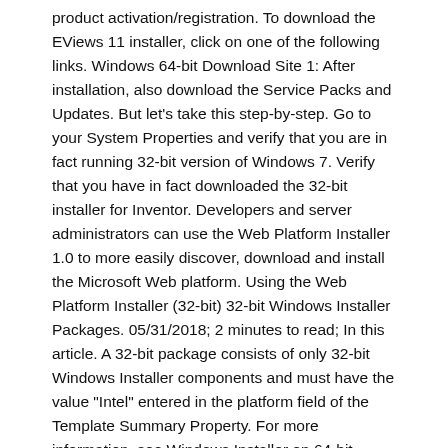product activation/registration. To download the EViews 11 installer, click on one of the following links. Windows 64-bit Download Site 1: After installation, also download the Service Packs and Updates. But let's take this step-by-step. Go to your System Properties and verify that you are in fact running 32-bit version of Windows 7. Verify that you have in fact downloaded the 32-bit installer for Inventor. Developers and server administrators can use the Web Platform Installer 1.0 to more easily discover, download and install the Microsoft Web platform. Using the Web Platform Installer (32-bit) 32-bit Windows Installer Packages. 05/31/2018; 2 minutes to read; In this article. A 32-bit package consists of only 32-bit Windows Installer components and must have the value "Intel" entered in the platform field of the Template Summary Property. For more information, see Windows Installer on 64-bit Operating Systems and 64-bit Windows Jul 10, 2020 · The 32-bit version of this app will work on both 32-bit and 64-bit machines, but if you know you have a 64-bit system, you're